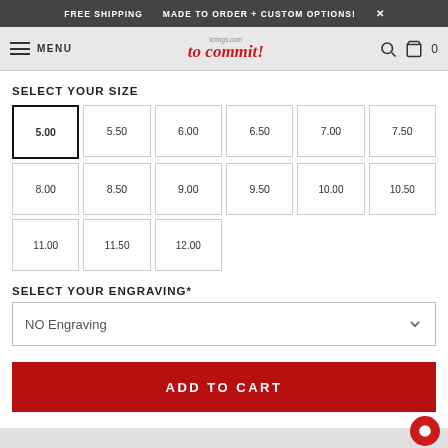FREE SHIPPING   MADE TO ORDER + CUSTOM OPTIONS!   X
MENU   to commit!   0
SELECT YOUR SIZE
| 5.00 | 5.50 | 6.00 | 6.50 | 7.00 | 7.50 |
| 8.00 | 8.50 | 9.00 | 9.50 | 10.00 | 10.50 |
| 11.00 | 11.50 | 12.00 |  |  |  |
SELECT YOUR ENGRAVING*
NO Engraving
ADD TO CART